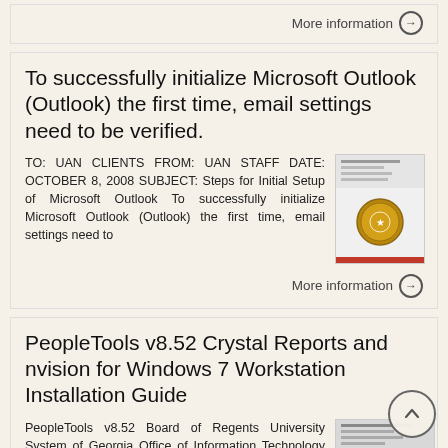More information →
To successfully initialize Microsoft Outlook (Outlook) the first time, email settings need to be verified.
TO: UAN CLIENTS FROM: UAN STAFF DATE: OCTOBER 8, 2008 SUBJECT: Steps for Initial Setup of Microsoft Outlook To successfully initialize Microsoft Outlook (Outlook) the first time, email settings need to
[Figure (other): Thumbnail image of a document with a government seal]
More information →
PeopleTools v8.52 Crystal Reports and nvision for Windows 7 Workstation Installation Guide
PeopleTools v8.52 Board of Regents University System of Georgia Office of Information Technology Services Version 1.0